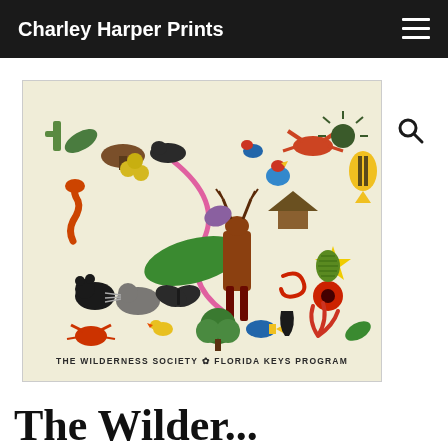Charley Harper Prints
[Figure (illustration): Charley Harper illustration for The Wilderness Society Florida Keys Program, showing a colorful collage of stylized animals, plants, and nature elements including deer, seahorse, tropical fish, birds, crabs, butterflies, and various flora against a cream/off-white background. Text at bottom reads: THE WILDERNESS SOCIETY * FLORIDA KEYS PROGRAM]
The Wilderness Society...